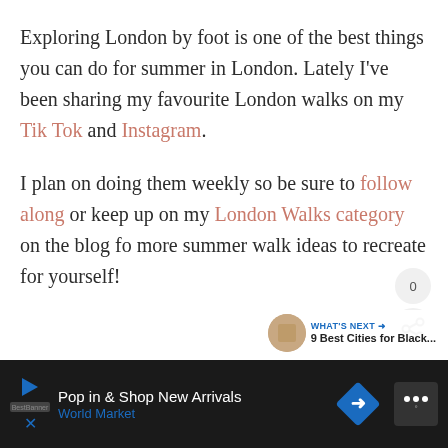Exploring London by foot is one of the best things you can do for summer in London. Lately I've been sharing my favourite London walks on my Tik Tok and Instagram.
I plan on doing them weekly so be sure to follow along or keep up on my London Walks category on the blog for more summer walk ideas to recreate for yourself!
[Figure (screenshot): Share button overlay with count 0 and share icon, plus a 'What's Next' widget showing '9 Best Cities for Black...']
[Figure (screenshot): Advertisement banner at bottom: 'Pop in & Shop New Arrivals / World Market' with play button, brand logo, diamond arrow icon, and media icon]